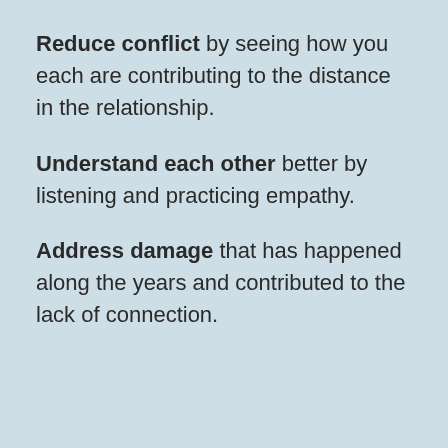Reduce conflict by seeing how you each are contributing to the distance in the relationship.
Understand each other better by listening and practicing empathy.
Address damage that has happened along the years and contributed to the lack of connection.